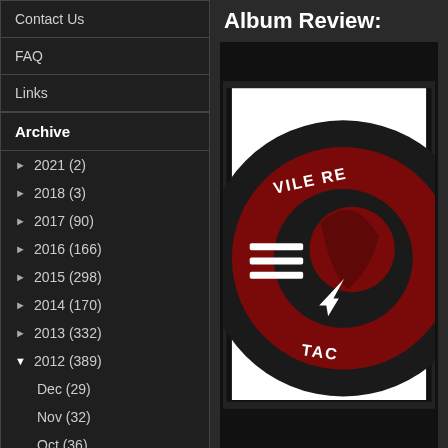Contact Us
FAQ
Links
Archive
► 2021 (2)
► 2018 (3)
► 2017 (90)
► 2016 (166)
► 2015 (298)
► 2014 (170)
► 2013 (332)
▼ 2012 (389)
Dec (29)
Nov (32)
Oct (36)
Album Review:
[Figure (logo): Circular logo with dark red and black design featuring text 'VILE RE...' and 'TAC...' with horizontal stripes and a lightning bolt symbol]